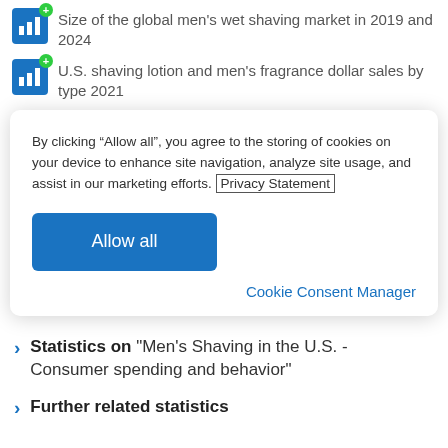Size of the global men's wet shaving market in 2019 and 2024
U.S. shaving lotion and men's fragrance dollar sales by type 2021
By clicking “Allow all”, you agree to the storing of cookies on your device to enhance site navigation, analyze site usage, and assist in our marketing efforts. Privacy Statement
Allow all
Cookie Consent Manager
Statistics on "Men's Shaving in the U.S. - Consumer spending and behavior"
Further related statistics